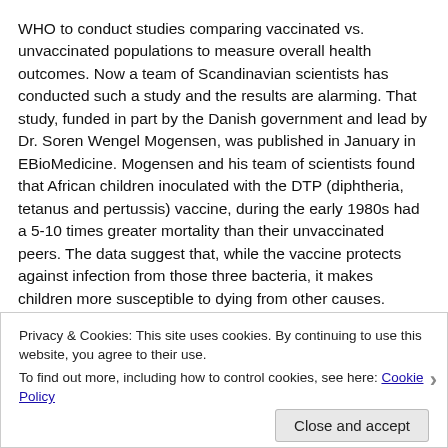WHO to conduct studies comparing vaccinated vs. unvaccinated populations to measure overall health outcomes. Now a team of Scandinavian scientists has conducted such a study and the results are alarming. That study, funded in part by the Danish government and lead by Dr. Soren Wengel Mogensen, was published in January in EBioMedicine. Mogensen and his team of scientists found that African children inoculated with the DTP (diphtheria, tetanus and pertussis) vaccine, during the early 1980s had a 5-10 times greater mortality than their unvaccinated peers. The data suggest that, while the vaccine protects against infection from those three bacteria, it makes children more susceptible to dying from other causes.
The scientists term the study a "natural experiment" since a birthday-based vaccination system employed for the Bandim Health Project (BHP) in Guinea Bissau, West Africa had the effect of creating a vaccinated cohort and a similarly situated unvaccinated control group. In the time period covered by this study, Guinea-Bissau had 50% child mortality rates for
Privacy & Cookies: This site uses cookies. By continuing to use this website, you agree to their use.
To find out more, including how to control cookies, see here: Cookie Policy
Close and accept